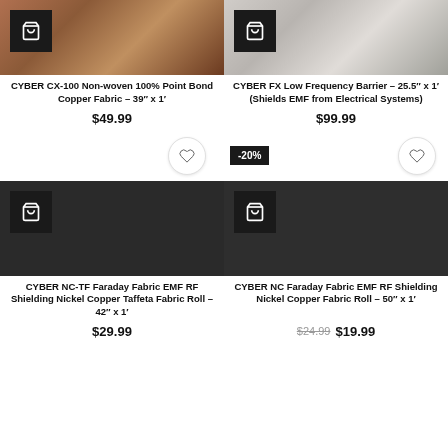[Figure (photo): Copper fabric product image - top portion of copper/brown fabric roll]
CYBER CX-100 Non-woven 100% Point Bond Copper Fabric – 39″ x 1′
$49.99
[Figure (photo): Silver/grey fabric product image - top portion of silver shielding fabric roll]
CYBER FX Low Frequency Barrier – 25.5″ x 1′ (Shields EMF from Electrical Systems)
$99.99
-20%
[Figure (photo): Dark colored Nickel Copper Taffeta Fabric Roll product image]
CYBER NC-TF Faraday Fabric EMF RF Shielding Nickel Copper Taffeta Fabric Roll – 42″ x 1′
$29.99
[Figure (photo): Dark colored Nickel Copper Fabric Roll product image]
CYBER NC Faraday Fabric EMF RF Shielding Nickel Copper Fabric Roll – 50″ x 1′
$24.99 $19.99